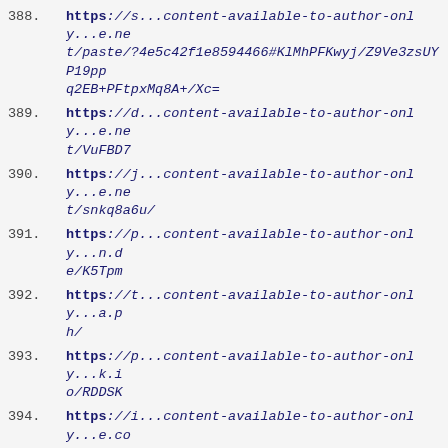388. https://s...content-available-to-author-only...e.net/paste/?4e5c42f1e8594466#KlMhPFKwyj/Z9Ve3zsUYP19ppq2EB+PFtpxMq8A+/Xc=
389. https://d...content-available-to-author-only...e.net/VuFBD7
390. https://j...content-available-to-author-only...e.net/snkq8a6u/
391. https://p...content-available-to-author-only...n.de/K5Tpm
392. https://t...content-available-to-author-only...a.ph/
393. https://p...content-available-to-author-only...k.io/RDDSK
394. https://i...content-available-to-author-only...e.com/5Zf7f5
395. https://i...content-available-to-author-only...s.org/2b927690-7fe9-4883-b6ca-be59e3baf0dd
396. https://p...content-available-to-author-only...2.org/jHUczFsA
397. https://p...content-available-to-author-only...a.io/projects/-E2Q1ttov3EC2UhyTY8W2Q?language=php
398. http://c...content-available-to-author-only...p.sh/5unsh